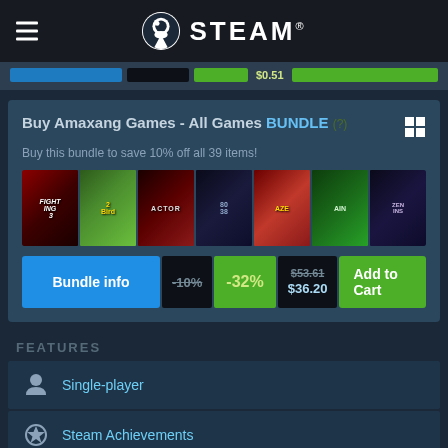STEAM
[Figure (screenshot): Partial top strip showing blue bar, dark bar, green bar, price $0.51, and green button]
Buy Amaxang Games - All Games BUNDLE (?)
Buy this bundle to save 10% off all 39 items!
[Figure (screenshot): Row of game thumbnails for the Amaxang bundle including various game covers]
[Figure (screenshot): Bundle action row: Bundle info button, -10% discount, -32% discount, $53.61 / $36.20 price, Add to Cart button]
FEATURES
Single-player
Steam Achievements
Full controller support